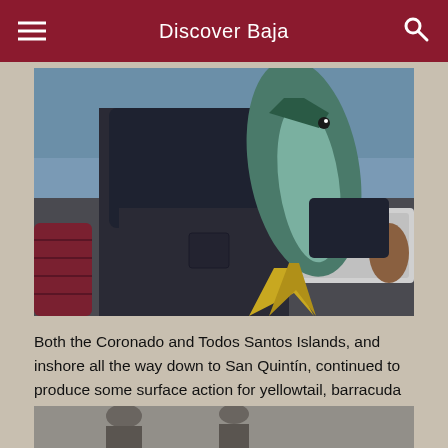Discover Baja
[Figure (photo): Person standing on a boat holding a large mahi-mahi (dorado) fish by the tail. The fish has a forked yellow tail fin and colorful green/teal body. Red upholstered boat seats and blue ocean water are visible in the background.]
Both the Coronado and Todos Santos Islands, and inshore all the way down to San Quintín, continued to produce some surface action for yellowtail, barracuda and the seemingly ever-present bonito.
[Figure (photo): Partial view of another photo at the bottom of the page, showing a person outdoors.]